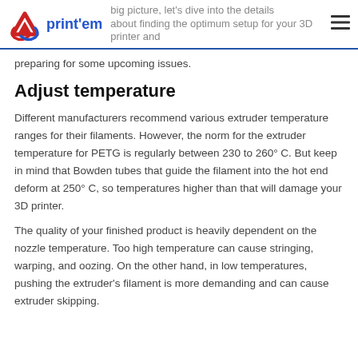3D print'em
big picture, let's dive into the details about finding the optimum setup for your 3D printer and preparing for some upcoming issues.
Adjust temperature
Different manufacturers recommend various extruder temperature ranges for their filaments. However, the norm for the extruder temperature for PETG is regularly between 230 to 260° C. But keep in mind that Bowden tubes that guide the filament into the hot end deform at 250° C, so temperatures higher than that will damage your 3D printer.
The quality of your finished product is heavily dependent on the nozzle temperature. Too high temperature can cause stringing, warping, and oozing. On the other hand, in low temperatures, pushing the extruder's filament is more demanding and can cause extruder skipping.